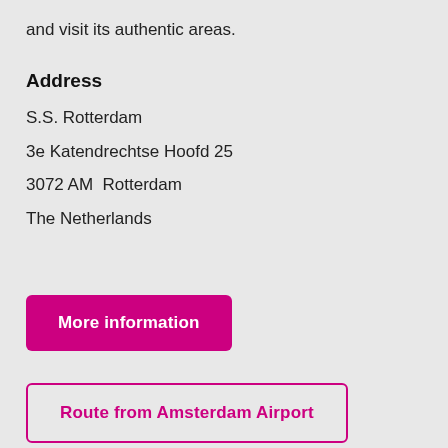and visit its authentic areas.
Address
S.S. Rotterdam
3e Katendrechtse Hoofd 25
3072 AM  Rotterdam
The Netherlands
More information
Route from Amsterdam Airport